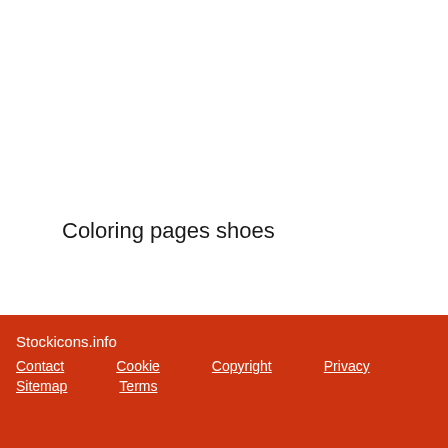Coloring pages shoes
Stockicons.info
Contact  Cookie  Copyright  Privacy
Sitemap  Terms